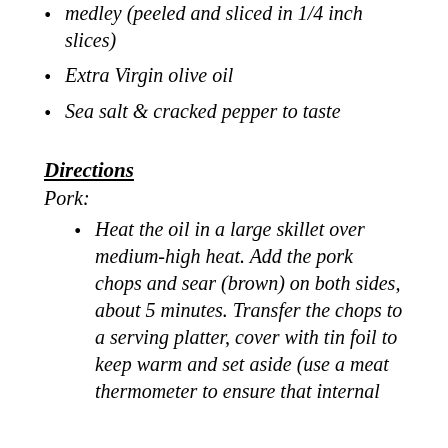medley (peeled and sliced in 1/4 inch slices)
Extra Virgin olive oil
Sea salt & cracked pepper to taste
Directions
Pork:
Heat the oil in a large skillet over medium-high heat. Add the pork chops and sear (brown) on both sides, about 5 minutes. Transfer the chops to a serving platter, cover with tin foil to keep warm and set aside (use a meat thermometer to ensure that internal